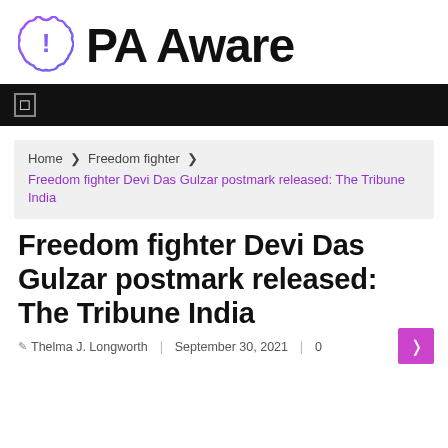PA Aware
[Figure (logo): PA Aware logo with exclamation mark badge icon in purple/blue gradient and bold text 'PA Aware']
☐
Home  ❯  Freedom fighter  ❯
Freedom fighter Devi Das Gulzar postmark released: The Tribune India
Freedom fighter Devi Das Gulzar postmark released: The Tribune India
✎ Thelma J. Longworth  ❙ September 30, 2021  ❙ 0